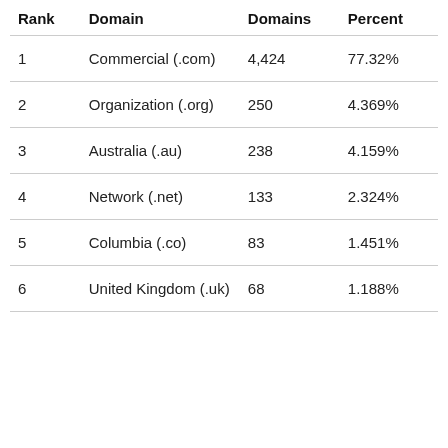| Rank | Domain | Domains | Percent |
| --- | --- | --- | --- |
| 1 | Commercial (.com) | 4,424 | 77.32% |
| 2 | Organization (.org) | 250 | 4.369% |
| 3 | Australia (.au) | 238 | 4.159% |
| 4 | Network (.net) | 133 | 2.324% |
| 5 | Columbia (.co) | 83 | 1.451% |
| 6 | United Kingdom (.uk) | 68 | 1.188% |